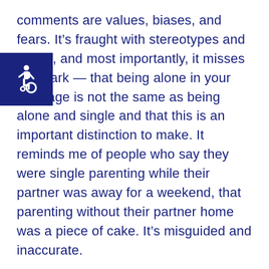[Figure (logo): Blue square accessibility icon with white wheelchair symbol]
comments are values, biases, and fears. It’s fraught with stereotypes and myths, and most importantly, it misses the mark — that being alone in your marriage is not the same as being alone and single and that this is an important distinction to make. It reminds me of people who say they were single parenting while their partner was away for a weekend, that parenting without their partner home was a piece of cake. It’s misguided and inaccurate.

Being alone in your marriage can be profoundly painful, much worse in my